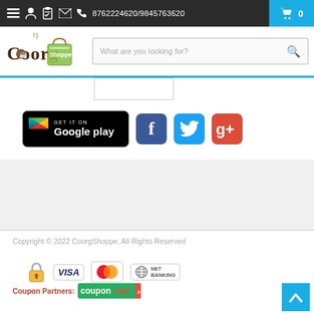8762224620/9845763620
[Figure (logo): CoorgShoppe logo with coffee cup and shopping bag icon]
What are you looking for?
[Figure (screenshot): Google Play store download button]
[Figure (logo): Facebook, Twitter, and Google+ social media icons]
Copyright © 2022 CoorgShoppe. All Rights Reserved
[Figure (infographic): Payment icons: lock/secure, VISA, Mastercard, Net Banking]
Coupon Partners: couponrani